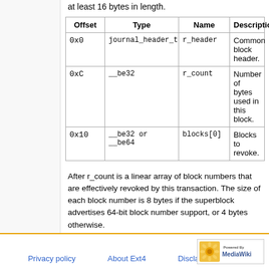at least 16 bytes in length.
| Offset | Type | Name | Description |
| --- | --- | --- | --- |
| 0x0 | journal_header_t | r_header | Common block header. |
| 0xC | __be32 | r_count | Number of bytes used in this block. |
| 0x10 | __be32 or __be64 | blocks[0] | Blocks to revoke. |
After r_count is a linear array of block numbers that are effectively revoked by this transaction. The size of each block number is 8 bytes if the superblock advertises 64-bit block number support, or 4 bytes otherwise.
Commit Block
Privacy policy   About Ext4   Disclaimers